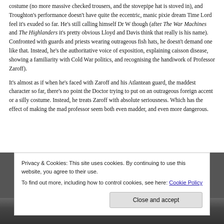costume (no more massive checked trousers, and the stovepipe hat is stoved in), and Troughton's performance doesn't have quite the eccentric, manic pixie dream Time Lord feel it's exuded so far. He's still calling himself Dr W though (after The War Machines and The Highlanders it's pretty obvious Lloyd and Davis think that really is his name). Confronted with guards and priests wearing outrageous fish hats, he doesn't demand one like that. Instead, he's the authoritative voice of exposition, explaining caisson disease, showing a familiarity with Cold War politics, and recognising the handiwork of Professor Zaroff).
It's almost as if when he's faced with Zaroff and his Atlantean guard, the maddest character so far, there's no point the Doctor trying to put on an outrageous foreign accent or a silly costume. Instead, he treats Zaroff with absolute seriousness. Which has the effect of making the mad professor seem both even madder, and even more dangerous.
Privacy & Cookies: This site uses cookies. By continuing to use this website, you agree to their use. To find out more, including how to control cookies, see here: Cookie Policy
[Figure (photo): Black and white photograph strip at the bottom of the page, partially visible]